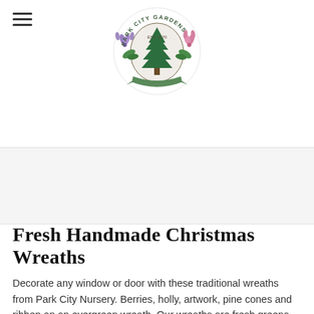[Figure (logo): Park City Gardens circular logo with a pine tree in the center, flanked by purple/pink flowers and greenery, with a banner ribbon and text reading PARK CITY GARDENS around the top arc and EST. 1970 in the center]
Fresh Handmade Christmas Wreaths
Decorate any window or door with these traditional wreaths from Park City Nursery. Berries, holly, artwork, pine cones and ribbon on an evergreen wreath. Our wreaths are fresh greens from Idaho and beautifully handcrafted at The Park City Nursery in Park City, Utah